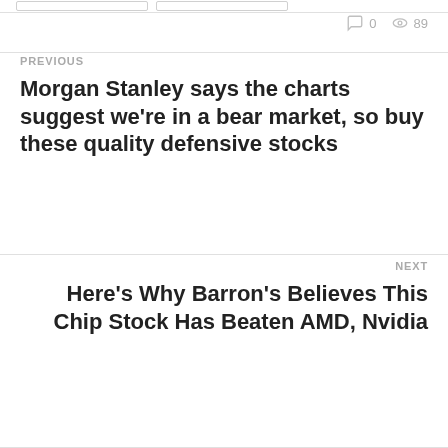0   89
PREVIOUS
Morgan Stanley says the charts suggest we're in a bear market, so buy these quality defensive stocks
NEXT
Here's Why Barron's Believes This Chip Stock Has Beaten AMD, Nvidia